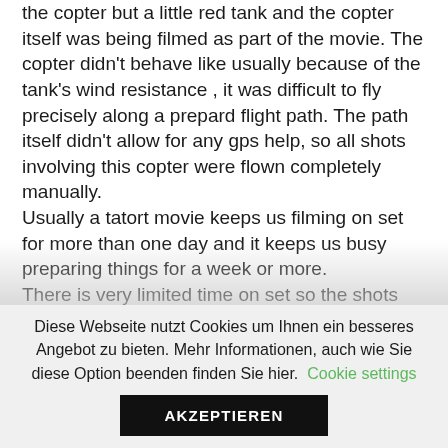the copter but a little red tank and the copter itself was being filmed as part of the movie. The copter didn't behave like usually because of the tank's wind resistance , it was difficult to fly precisely along a prepard flight path. The path itself didn't allow for any gps help, so all shots involving this copter were flown completely manually.
Usually a tatort movie keeps us filming on set for more than one day and it keeps us busy preparing things for a week or more.
There is very limited time on set so the shots need to be planned well ahead and all flight
Diese Webseite nutzt Cookies um Ihnen ein besseres Angebot zu bieten. Mehr Informationen, auch wie Sie diese Option beenden finden Sie hier. Cookie settings
AKZEPTIEREN